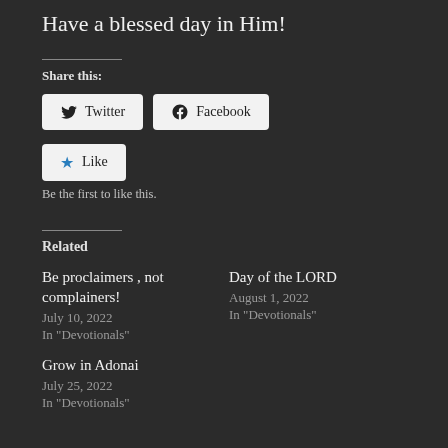Have a blessed day in Him!
Share this:
Twitter | Facebook (share buttons)
Like
Be the first to like this.
Related
Be proclaimers , not complainers!
July 10, 2022
In "Devotionals"
Day of the LORD
August 1, 2022
In "Devotionals"
Grow in Adonai
July 25, 2022
In "Devotionals"